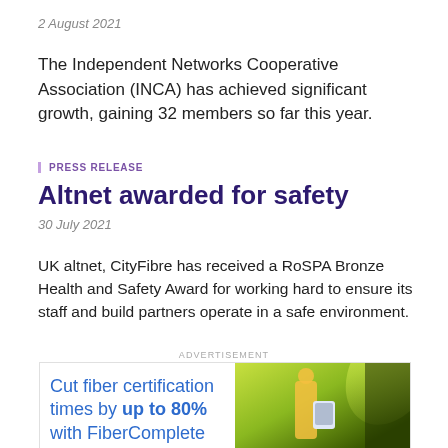2 August 2021
The Independent Networks Cooperative Association (INCA) has achieved significant growth, gaining 32 members so far this year.
PRESS RELEASE
Altnet awarded for safety
30 July 2021
UK altnet, CityFibre has received a RoSPA Bronze Health and Safety Award for working hard to ensure its staff and build partners operate in a safe environment.
ADVERTISEMENT
[Figure (infographic): Advertisement for VIAVI FiberComplete PRO. Text reads: Cut fiber certification times by up to 80% with FiberComplete PRO™. Shows a technician with a handheld device. Bottom bar has VIAVI logo and LEARN MORE button.]